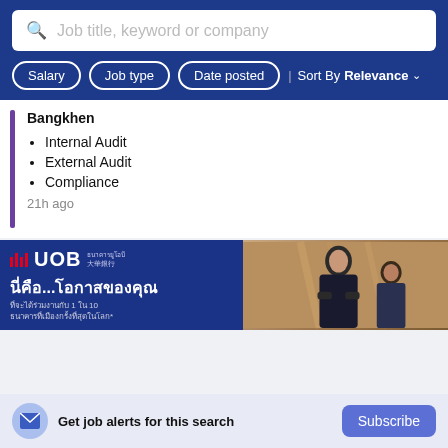Job title, keyword or company
Salary
Job type
Date posted
Sort By Relevance
Bangkhen
Internal Audit
External Audit
Compliance
21h ago
[Figure (photo): UOB bank advertisement banner with Thai text 'นี่คือ...โอกาสของคุณ' and two people in business attire]
Get job alerts for this search
Subscribe